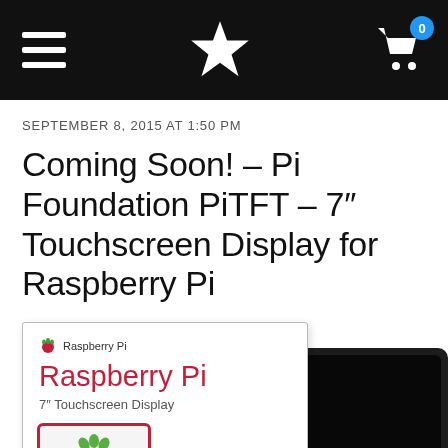Navigation bar with hamburger menu, Adafruit star logo, and shopping cart with badge 0
SEPTEMBER 8, 2015 AT 1:50 PM
Coming Soon! – Pi Foundation PiTFT – 7" Touchscreen Display for Raspberry Pi
[Figure (photo): Product photo showing Raspberry Pi 7 inch Touchscreen Display retail box (white box with Raspberry Pi logo and red brand name text reading 'Raspberry Pi' and '7" Touchscreen Display') alongside a dark-colored display monitor showing the Raspberry Pi logo on a small screen inset.]